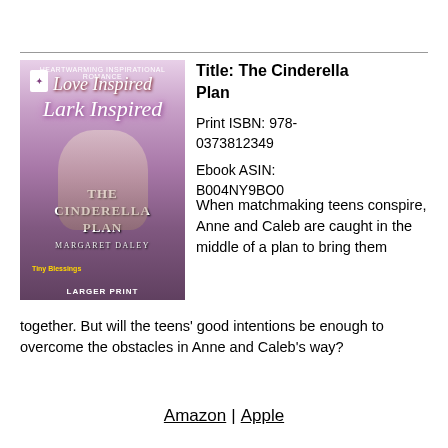[Figure (illustration): Book cover of 'The Cinderella Plan' by Margaret Daley, Love Inspired Larger Print series. Features a couple embracing against a floral background.]
Title: The Cinderella Plan
Print ISBN: 978-0373812349
Ebook ASIN: B004NY9BO0
When matchmaking teens conspire, Anne and Caleb are caught in the middle of a plan to bring them together. But will the teens' good intentions be enough to overcome the obstacles in Anne and Caleb's way?
Amazon | Apple